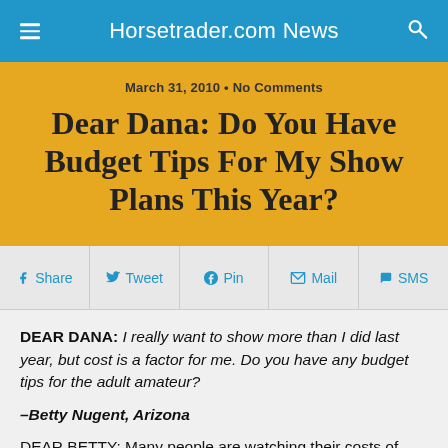Horsetrader.com News
March 31, 2010 • No Comments
Dear Dana: Do You Have Budget Tips For My Show Plans This Year?
Share  Tweet  Pin  Mail  SMS
DEAR DANA: I really want to show more than I did last year, but cost is a factor for me. Do you have any budget tips for the adult amateur?
–Betty Nugent, Arizona
DEAR BETTY: Many people are watching their costs of